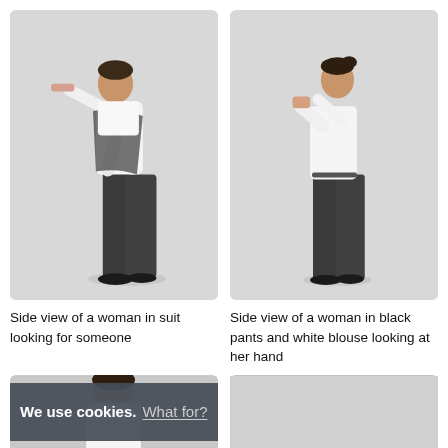[Figure (photo): Side view of a woman in a dark suit leaning forward, shielding her eyes with one hand and placing the other on her knee, as if looking for someone. Light gray background.]
[Figure (photo): Side view of a woman in black wide-leg pants and a white long-sleeve blouse, standing upright and looking down at her raised hand/wrist. Light gray background.]
Side view of a woman in suit looking for someone
Side view of a woman in black pants and white blouse looking at her hand
[Figure (screenshot): Partial view of a third photo (bottom left), obscured by a cookie consent banner overlay reading: 'We use cookies. What for? OK']